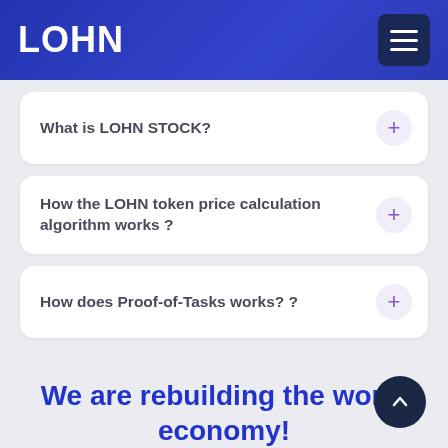LOHN
What is LOHN STOCK?
How the LOHN token price calculation algorithm works ?
How does Proof-of-Tasks works? ?
We are rebuilding the world economy!